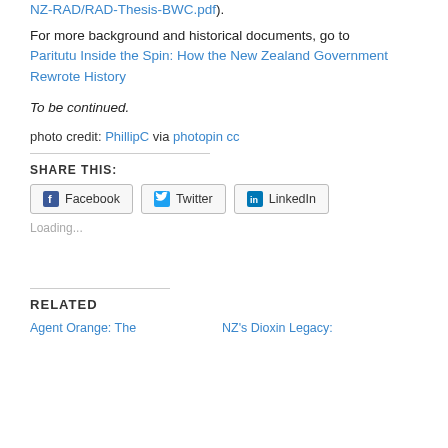For more background and historical documents, go to Paritutu Inside the Spin: How the New Zealand Government Rewrote History
To be continued.
photo credit: PhillipC via photopin cc
SHARE THIS:
[Figure (other): Social share buttons: Facebook, Twitter, LinkedIn]
Loading...
RELATED
Agent Orange: The   NZ's Dioxin Legacy: